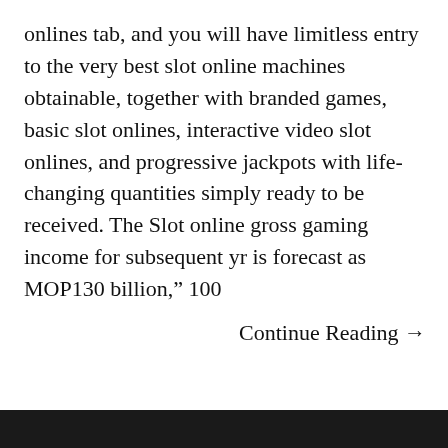onlines tab, and you will have limitless entry to the very best slot online machines obtainable, together with branded games, basic slot onlines, interactive video slot onlines, and progressive jackpots with life-changing quantities simply ready to be received. The Slot online gross gaming income for subsequent yr is forecast as MOP130 billion," 100
Continue Reading →